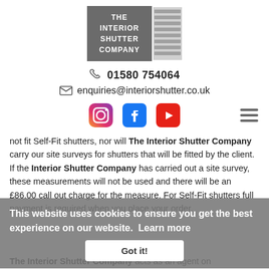[Figure (logo): The Interior Shutter Company logo with grey box text and vertical shutter slat graphic]
01580 754064
enquiries@interiorshutter.co.uk
[Figure (infographic): Social media icons: Instagram, Facebook, YouTube, and hamburger menu icon]
not fit Self-Fit shutters, nor will The Interior Shutter Company carry our site surveys for shutters that will be fitted by the client. If the Interior Shutter Company has carried out a site survey, these measurements will not be used and there will be an £86.00 call out charge for the measure. For Self-Fit shutters full payment is required when you place your order.
This website uses cookies to ensure you get the best experience on our website.  Learn more
Got it!
The Interior Shutter Company acts as an agent on